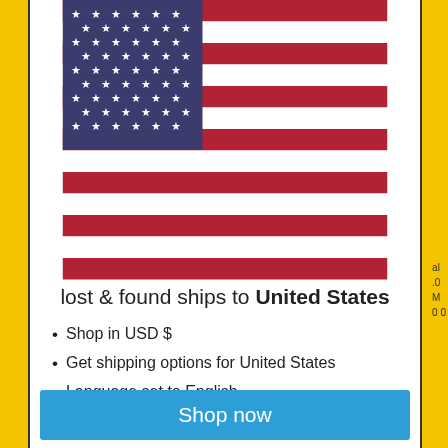[Figure (illustration): US flag illustration rendered as SVG with stars and stripes]
lost & found ships to United States
Shop in USD $
Get shipping options for United States
Language set to English
Shop now